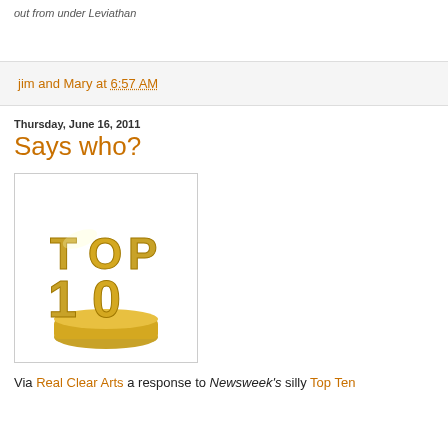out from under Leviathan
jim and Mary at 6:57 AM
Thursday, June 16, 2011
Says who?
[Figure (photo): Gold 3D trophy with the text TOP 10 on a gold base, against a white background]
Via Real Clear Arts a response to Newsweek's silly Top Ten